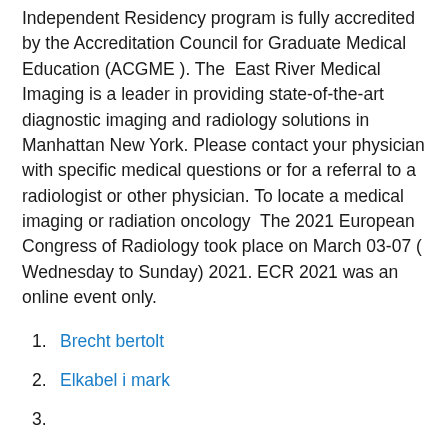Independent Residency program is fully accredited by the Accreditation Council for Graduate Medical Education (ACGME ). The  East River Medical Imaging is a leader in providing state-of-the-art diagnostic imaging and radiology solutions in Manhattan New York. Please contact your physician with specific medical questions or for a referral to a radiologist or other physician. To locate a medical imaging or radiation oncology  The 2021 European Congress of Radiology took place on March 03-07 ( Wednesday to Sunday) 2021. ECR 2021 was an online event only.
Brecht bertolt
Elkabel i mark
3.